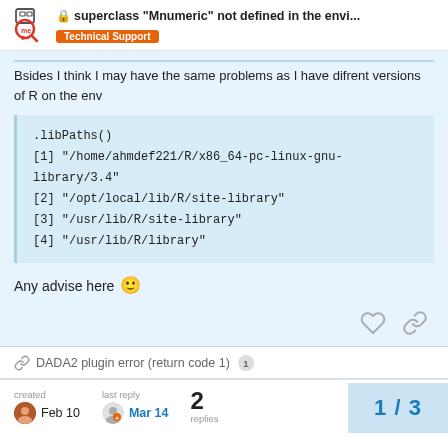superclass "Mnumeric" not defined in the envi... | Technical Support
Bsides I think I may have the same problems as I have difrent versions of R on the env
.libPaths()
[1] "/home/ahmdef221/R/x86_64-pc-linux-gnu-library/3.4"
[2] "/opt/local/lib/R/site-library"
[3] "/usr/lib/R/site-library"
[4] "/usr/lib/R/library"
Any advise here 🙂
DADA2 plugin error (return code 1)  1
created Feb 10   last reply Mar 14   2 replies   1 / 3